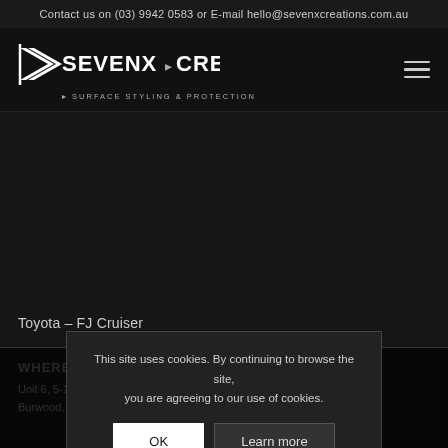Contact us on (03) 9942 0583 or E-mail hello@sevenxcreations.com.au
[Figure (logo): SevenX Creations logo with stylized X and text SEVENX CREATIONS, tagline SURFACE STYLING & PROTECTION]
Toyota – FJ Cruiser
WHERE TO FIND US
Unit 6, 5-13 Sinn...
Burwood, VIC 3125 AU
This site uses cookies. By continuing to browse the site, you are agreeing to our use of cookies.